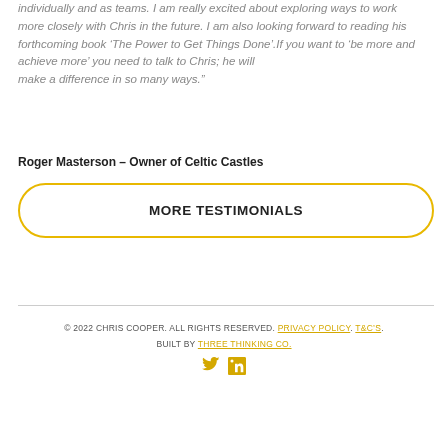individually and as teams. I am really excited about exploring ways to work more closely with Chris in the future. I am also looking forward to reading his forthcoming book ‘The Power to Get Things Done’.If you want to ‘be more and achieve more’ you need to talk to Chris; he will make a difference in so many ways.”
Roger Masterson – Owner of Celtic Castles
MORE TESTIMONIALS
© 2022 CHRIS COOPER. ALL RIGHTS RESERVED. PRIVACY POLICY. T&C’S. BUILT BY THREE THINKING CO.